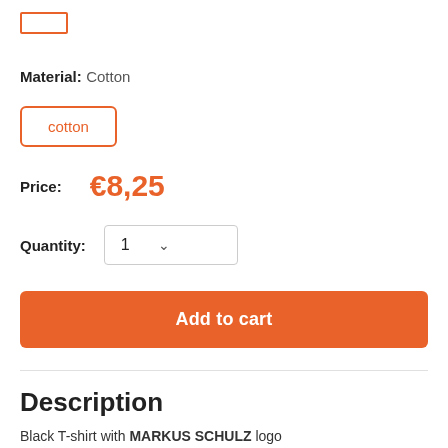[Figure (other): Orange outlined navigation/breadcrumb box stub at top left]
Material: Cotton
cotton
Price: €8,25
Quantity: 1
Add to cart
Description
Black T-shirt with MARKUS SCHULZ logo